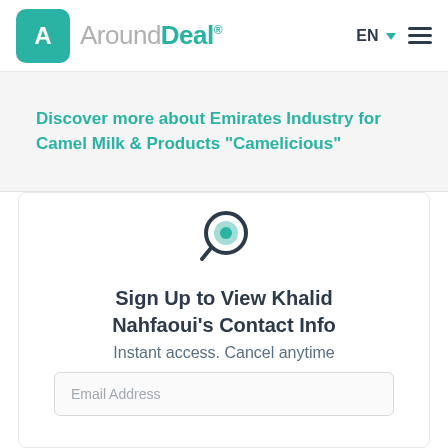AroundDeal® EN
Discover more about Emirates Industry for Camel Milk & Products "Camelicious"
[Figure (illustration): Magnifying glass icon with a teal/green center circle and dark navy outer ring and handle]
Sign Up to View Khalid Nahfaoui's Contact Info
Instant access. Cancel anytime
Email Address